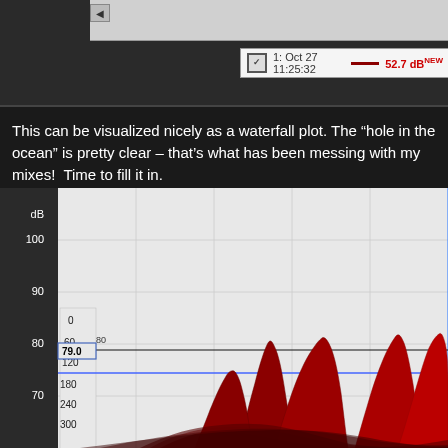[Figure (screenshot): Top portion of an audio analysis software interface showing a legend box with '1: Oct 27 11:25:32' timestamp, a dark red line indicator, and '52.7 dBNEW' reading]
This can be visualized nicely as a waterfall plot. The "hole in the ocean" is pretty clear – that's what has been messing with my mixes!  Time to fill it in.
[Figure (continuous-plot): 3D waterfall plot of audio frequency response showing multiple red peaks at various frequencies. Y-axis shows dB values (70, 80/79.0, 90, 100). Left side shows depth labels: 0, 60, 120, 180, 240, 300. A blue horizontal cursor line is at approximately 300ms depth. Peaks are dark red/crimson colored showing resonant frequencies. The chart has a light gray background with grid lines.]